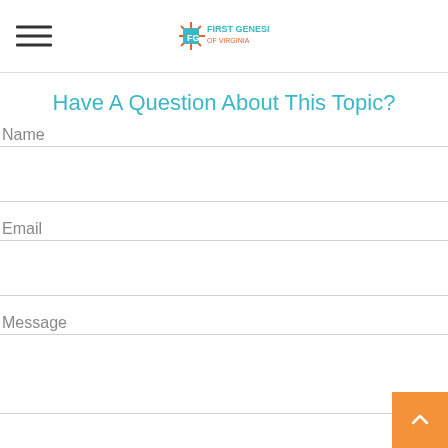[Figure (logo): First Genesis of Virginia logo with stylized FG letters and starburst icon]
Have A Question About This Topic?
Name
Email
Message